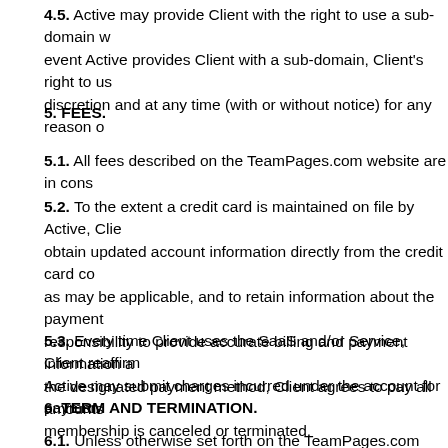4.5. Active may provide Client with the right to use a sub-domain w... event Active provides Client with a sub-domain, Client's right to us... discretion and at any time (with or without notice) for any reason o...
5. FEES.
5.1. All fees described on the TeamPages.com website are in cons...
5.2. To the extent a credit card is maintained on file by Active, Clie... obtain updated account information directly from the credit card co... as may be applicable, and to retain information about the payment... responsibility to provide accurate billing and payment information a... the designated payment method, Client agrees to pay all amounts...
5.3. Every time Client uses the SaaS and/or Service, Client reaffirm... Active may submit charges incurred under the account for paymen... membership is canceled or terminated.
6. TERM AND TERMINATION.
6.1. Unless otherwise set forth on the TeamPages.com website or...